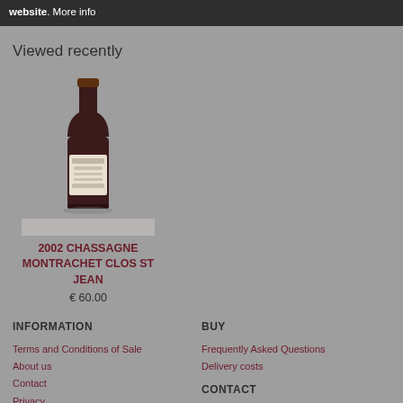website. More info
Viewed recently
[Figure (photo): Wine bottle photo for 2002 Chassagne Montrachet Clos St Jean]
2002 CHASSAGNE MONTRACHET CLOS ST JEAN
€ 60.00
INFORMATION
Terms and Conditions of Sale
About us
Contact
Privacy
BUY
Frequently Asked Questions
Delivery costs
CONTACT
Uilenbaan 148a
ACCOUNT